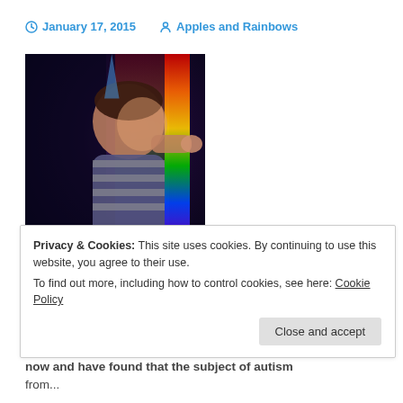January 17, 2015   Apples and Rainbows
[Figure (photo): A child looking at a colorful light display with rainbow colors reflected on a dark background]
Privacy & Cookies: This site uses cookies. By continuing to use this website, you agree to their use. To find out more, including how to control cookies, see here: Cookie Policy
now and have found that the subject of autism from...